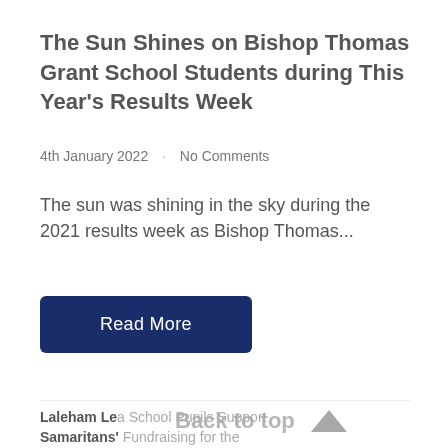The Sun Shines on Bishop Thomas Grant School Students during This Year's Results Week
4th January 2022  ·  No Comments
The sun was shining in the sky during the 2021 results week as Bishop Thomas...
Read More
Laleham Lea School Pupils Support Samaritans' Fundraising for the 'Adopted Child'
Back to top